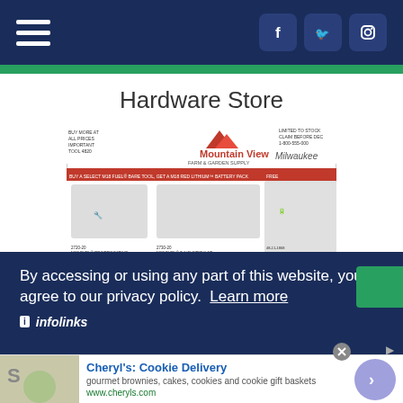Navigation bar with hamburger menu and social media icons (Facebook, Twitter, Instagram)
Hardware Store
[Figure (photo): Mountain View Farm & Garden Milwaukee tools promotional flyer showing power tools including reciprocating saw, circular saw, battery pack, rotary hammer, impact driver, and angle grinder with promotional offers]
Mountain View Farm & Garden
(717) 375-4010
By accessing or using any part of this website, you agree to our privacy policy. Learn more
infolinks
[Figure (illustration): Cheryl's Cookie Delivery advertisement with food image, ad title, description 'gourmet brownies, cakes, cookies and cookie gift baskets', URL www.cheryls.com, and arrow button]